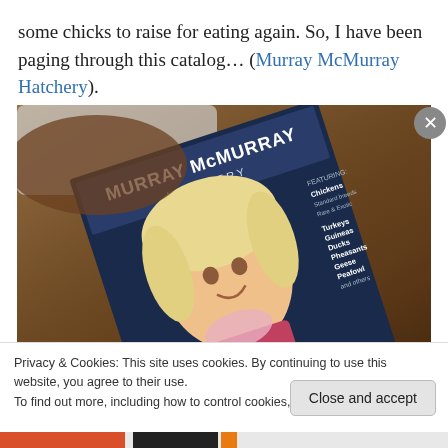some chicks to raise for eating again. So, I have been paging through this catalog… (Murray McMurray Hatchery).
[Figure (photo): A Murray McMurray Hatchery catalog lying on a wooden table, showing a smiling child on the cover with the hatchery name prominently displayed.]
Privacy & Cookies: This site uses cookies. By continuing to use this website, you agree to their use. To find out more, including how to control cookies, see here: Cookie Policy